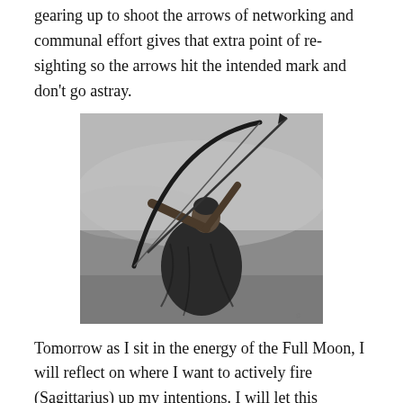gearing up to shoot the arrows of networking and communal effort gives that extra point of re-sighting so the arrows hit the intended mark and don't go astray.
[Figure (photo): Black and white photograph of a woman in a dark flowing cape/cloak drawing a large bow and arrow, aiming upward. The background is misty/foggy outdoor scenery.]
Tomorrow as I sit in the energy of the Full Moon, I will reflect on where I want to actively fire (Sagittarius) up my intentions. I will let this thought (Gemini) settle into my sacred waters of feeling and intuition (Moon). I will breathe